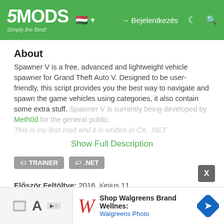5MODS Simply the Best! [HU flag] Bejelentkezés
About
Spawner V is a free, advanced and lightweight vehicle spawner for Grand Theft Auto V. Designed to be user-friendly, this script provides you the best way to navigate and spawn the game vehicles using categories, it also contain some extra stuff. Spawner V is currently being developed by Meth0d for the general public.
This is my first mod and it is written in C#, .NET
Show Full Description
TRAINER
.NET
Először Feltöltve: 2016. június 11.
Utoljára Feltöltve: 2016. augusztus 27.
Utoljára Letöltött: 19 perce
[Figure (screenshot): Advertisement banner for Walgreens Brand Wellness products - Walgreens Photo with blue navigation arrow icon]